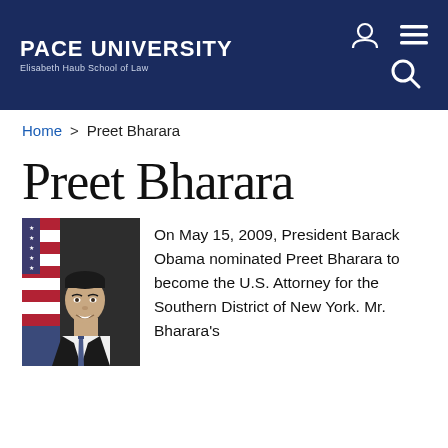PACE UNIVERSITY Elisabeth Haub School of Law
Home > Preet Bharara
Preet Bharara
[Figure (photo): Official portrait photograph of Preet Bharara in a dark suit and tie, with an American flag in the background.]
On May 15, 2009, President Barack Obama nominated Preet Bharara to become the U.S. Attorney for the Southern District of New York. Mr. Bharara's